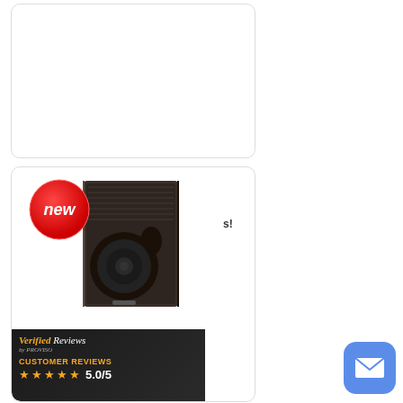[Figure (photo): Empty white card/panel with rounded corners and light border]
[Figure (photo): Product card showing a dark brown/black professional speaker cabinet (JBL or similar brand) with a 'new' red badge in the top-left corner]
[Figure (other): Verified Reviews badge with customer reviews showing 5 stars and 5.0/5 rating, orange and dark background]
[Figure (other): Blue mail/envelope button icon in bottom right corner]